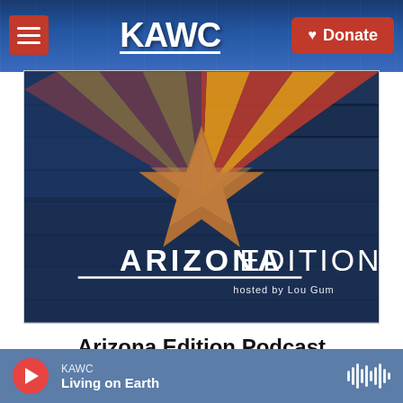KAWC | Donate
[Figure (screenshot): Arizona Edition podcast cover image showing Arizona state flag projected on wooden planks with a copper star, text reading ARIZONA EDITION hosted by Lou Gum]
Arizona Edition Podcast
Hosted by Lou Gum, Arizona Edition, KAWC's news
KAWC — Living on Earth (player bar with play button and waveform icon)